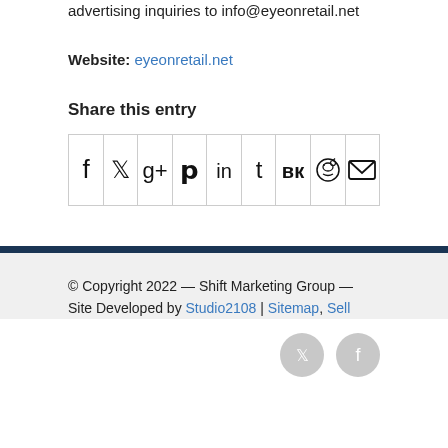advertising inquiries to info@eyeonretail.net
Website: eyeonretail.net
Share this entry
[Figure (other): Row of social media share icons: Facebook, Twitter, Google+, Pinterest, LinkedIn, Tumblr, VK, Reddit, Email]
© Copyright 2022 — Shift Marketing Group — Site Developed by Studio2108 | Sitemap, Sell